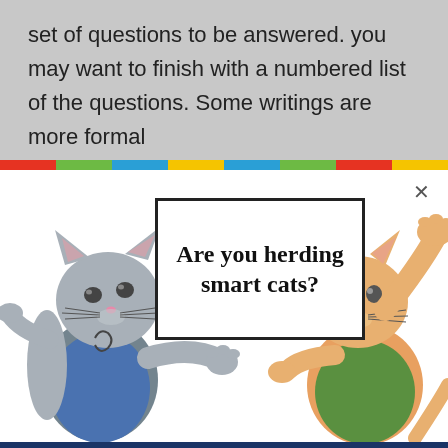set of questions to be answered. you may want to finish with a numbered list of the questions. Some writings are more formal
[Figure (illustration): Advertisement overlay showing two cartoon cats holding a sign that reads 'Are you herding smart cats?' with a close X button, a colored stripe bar, and a dark navy 'LEARN MORE' banner at the bottom.]
supposed to do. Its a classic problem if we all spent a little extra time when we are crafting our emails. and asked ourselves